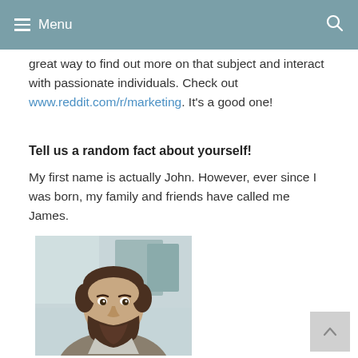≡ Menu
great way to find out more on that subject and interact with passionate individuals. Check out www.reddit.com/r/marketing. It's a good one!
Tell us a random fact about yourself!
My first name is actually John. However, ever since I was born, my family and friends have called me James.
[Figure (photo): Portrait photo of a young man with a beard, smiling, wearing a grey jacket, taken indoors with a blurred background.]